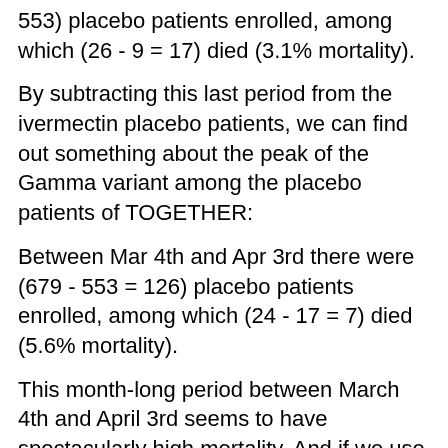553) placebo patients enrolled, among which (26 - 9 = 17) died (3.1% mortality).
By subtracting this last period from the ivermectin placebo patients, we can find out something about the peak of the Gamma variant among the placebo patients of TOGETHER:
Between Mar 4th and Apr 3rd there were (679 - 553 = 126) placebo patients enrolled, among which (24 - 17 = 7) died (5.6% mortality).
This month-long period between March 4th and April 3rd seems to have spectacularly high mortality. And if we use what we know from the overall CFR in the area at the time, mortality must have been concentrated to the latter half of this period, after patient enrollment for the high-dose ivermectin arm started.